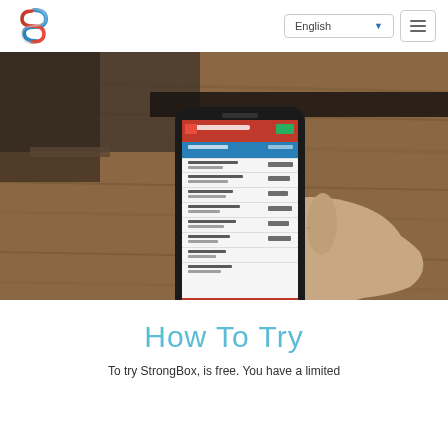English (language selector) | hamburger menu
[Figure (photo): A hand holding a smartphone displaying a mobile app with a red/orange header and list interface, resting on a wooden table surface. The phone screen shows what appears to be a finance or task management app.]
How To Try
To try StrongBox, is free. You have a limited...